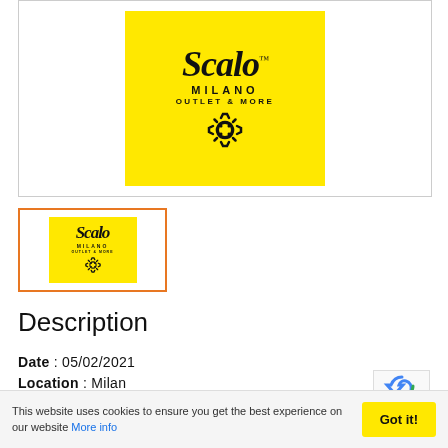[Figure (logo): Scalo Milano Outlet & More logo on yellow background, large version]
[Figure (logo): Scalo Milano Outlet & More logo on yellow background, small thumbnail with orange border]
Description
Date : 05/02/2021
Location : Milan
This website uses cookies to ensure you get the best experience on our website More info
Got it!